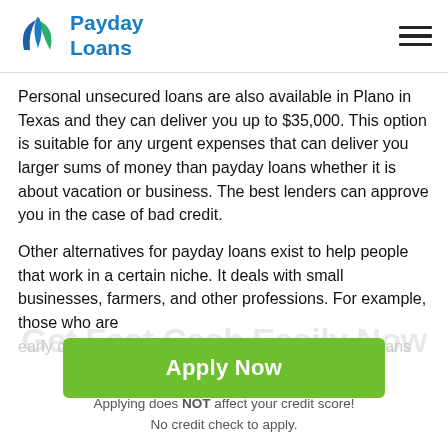[Figure (logo): Payday Loans logo with blue flame/leaf icon and blue text reading 'Payday Loans']
Personal unsecured loans are also available in Plano in Texas and they can deliver you up to $35,000. This option is suitable for any urgent expenses that can deliver you larger sums of money than payday loans whether it is about vacation or business. The best lenders can approve you in the case of bad credit.
Other alternatives for payday loans exist to help people that work in a certain niche. It deals with small businesses, farmers, and other professions. For example, those who are
early or later fulfilling contracts to be approved for loans
[Figure (other): Green 'Apply Now' button]
Applying does NOT affect your credit score!
No credit check to apply.
Get Fast Cash Easily Now